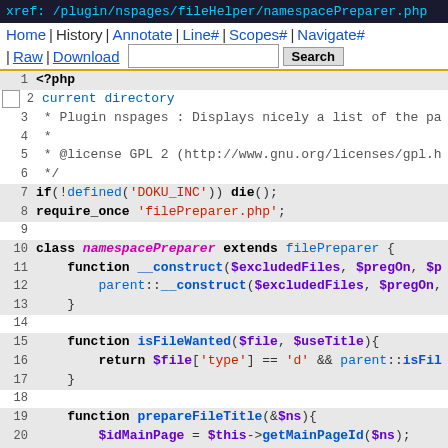xref: /plugin/nspages/fileHelper/namespacePreparer.php
Home | History | Annotate | Line# | Scopes# | Navigate# | Raw | Download   Search
[Figure (screenshot): Source code viewer showing PHP file namespacePreparer.php with syntax highlighting, line numbers 1-25 visible]
PHP source code for namespacePreparer.php